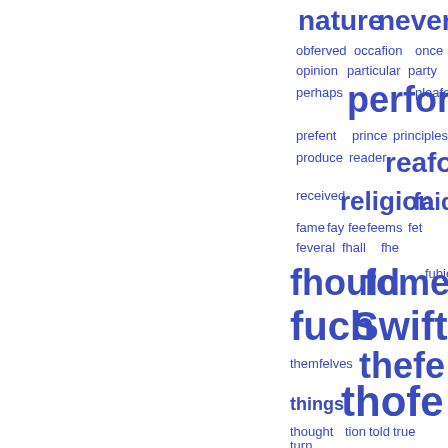[Figure (infographic): Word cloud in blue text on white background featuring archaic/historical English words of varying sizes indicating frequency. Words include: nature, never, obferved, occafion, once, opinion, particular, party, perhaps, perfon, pleafe, prefent, prince, principles, produce, reader, reafon, received, religion, faid, fame, fay, fee, feems, fet, feveral, fhall, fhe, fhould, fome, fubject, fuch, Swift, themfelves, thefe, things, thofe, thought, tion, told, true, turn, univerfal, ufe, virtue, whole, whofe, writers]